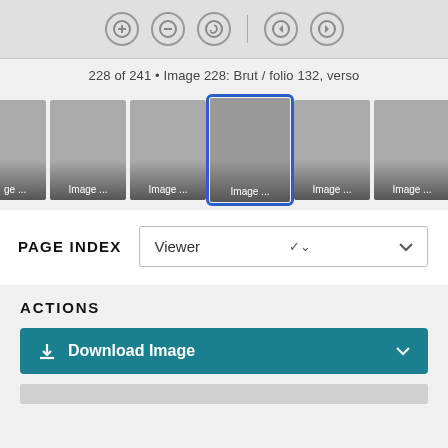[Figure (screenshot): Navigation toolbar with zoom in (+), zoom out (-), rotate, back and forward arrow buttons in circular icon style, with a vertical divider between groups.]
228 of 241 • Image 228: Brut / folio 132, verso
[Figure (screenshot): Horizontal thumbnail strip showing multiple gray page thumbnails. The center thumbnail is highlighted with a blue border outline. Each thumbnail shows 'Image...' label at the bottom. Partial thumbnails visible on left and right edges.]
PAGE INDEX
[Figure (screenshot): Dropdown select box labeled 'Viewer' with a chevron down arrow.]
ACTIONS
[Figure (screenshot): Teal/dark cyan button labeled 'Download Image' with a download icon on the left and a chevron down arrow on the right.]